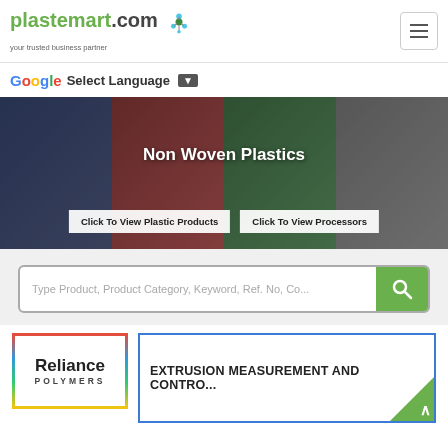plastemart.com — your trusted business partner
Select Language
[Figure (screenshot): Hero banner with collage of plastic products including bottles, pipes, containers and bags, with overlay text 'Non Woven Plastics' and two buttons: 'Click To View Plastic Products' and 'Click To View Processors']
Type Product, Product Category, Keyword, Ref. No, Co...
[Figure (logo): Reliance Polymers logo with colorful border]
EXTRUSION MEASUREMENT AND CONTRO...